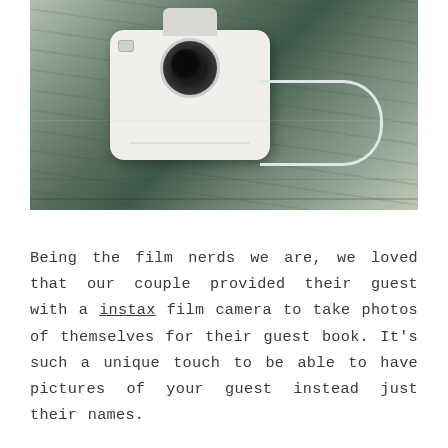[Figure (photo): A white Fujifilm Instax mini film camera sitting on a rustic green-painted wooden surface. The camera is white and boxy with a round lens on top, and a light-colored wrist strap attached.]
Being the film nerds we are, we loved that our couple provided their guest with a instax film camera to take photos of themselves for their guest book. It's such a unique touch to be able to have pictures of your guest instead just their names.